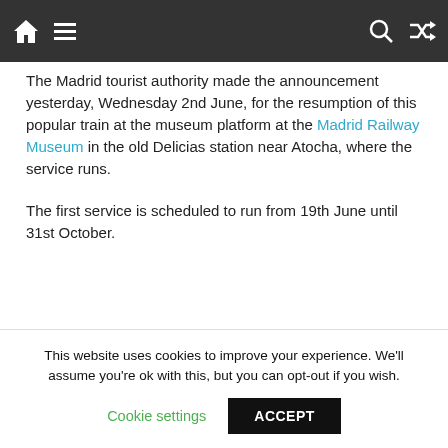Navigation bar with home, menu, search, and shuffle icons
The Madrid tourist authority made the announcement yesterday, Wednesday 2nd June, for the resumption of this popular train at the museum platform at the Madrid Railway Museum in the old Delicias station near Atocha, where the service runs.

The first service is scheduled to run from 19th June until 31st October.
This website uses cookies to improve your experience. We'll assume you're ok with this, but you can opt-out if you wish.
Cookie settings  ACCEPT